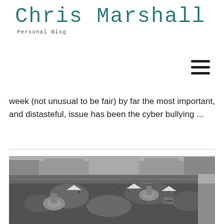Chris Marshall
Personal Blog
week (not unusual to be fair) by far the most important, and distasteful, issue has been the cyber bullying ...
[Figure (photo): Black and white aerial photograph of a large crowd gathered in what appears to be a public square or plaza, with fountains or monuments visible among the dense crowd.]